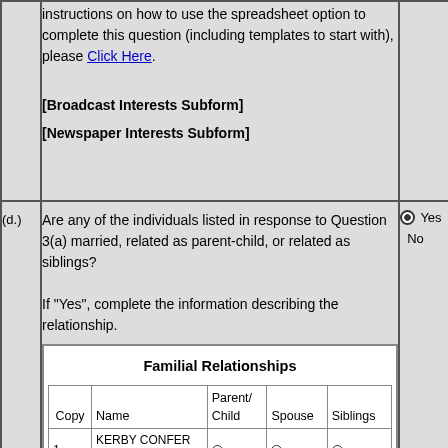instructions on how to use the spreadsheet option to complete this question (including templates to start with), please Click Here.
[Broadcast Interests Subform]
[Newspaper Interests Subform]
(d.)
Are any of the individuals listed in response to Question 3(a) married, related as parent-child, or related as siblings?

If "Yes", complete the information describing the relationship.
Yes / No (radio buttons, Yes selected)
| Copy | Name | Parent/Child | Spouse | Siblings |
| --- | --- | --- | --- | --- |
| 1. | KERBY CONFER AND JUDITH | ◯ | ⦿ | ◯ |